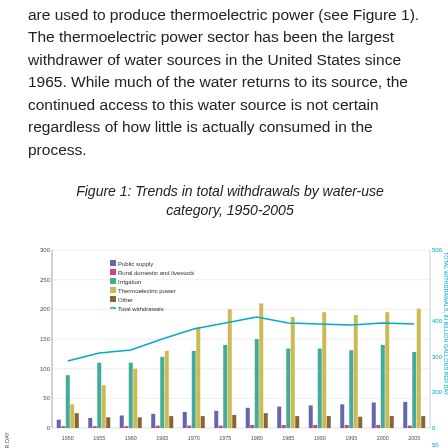are used to produce thermoelectric power (see Figure 1). The thermoelectric power sector has been the largest withdrawer of water sources in the United States since 1965. While much of the water returns to its source, the continued access to this water source is not certain regardless of how little is actually consumed in the process.
Figure 1: Trends in total withdrawals by water-use category, 1950-2005
[Figure (grouped-bar-chart): Grouped bar chart showing water withdrawals by category 1950-2005 with a line for total withdrawals]